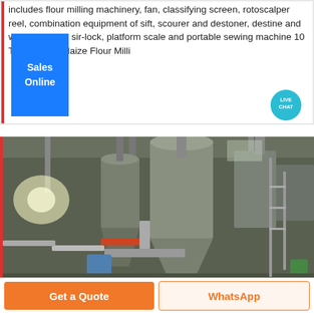includes flour milling machinery, fan, classifying screen, rotoscalper reel, combination equipment of sift, scourer and destoner, destine and wheat washer, sir-lock, platform scale and portable sewing machine 10 Ton per Day Maize Flour Milli...
Sales Online
[Figure (photo): Industrial flour milling machinery interior showing large metal hoppers, cyclones, pipes and conveyor equipment in a factory building]
Get a Quote
WhatsApp